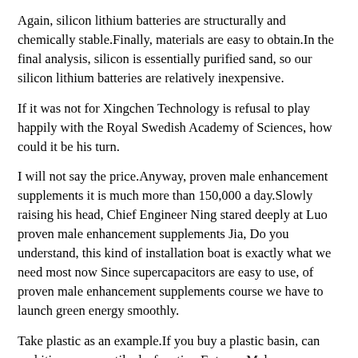Again, silicon lithium batteries are structurally and chemically stable.Finally, materials are easy to obtain.In the final analysis, silicon is essentially purified sand, so our silicon lithium batteries are relatively inexpensive.
If it was not for Xingchen Technology is refusal to play happily with the Royal Swedish Academy of Sciences, how could it be his turn.
I will not say the price.Anyway, proven male enhancement supplements it is much more than 150,000 a day.Slowly raising his head, Chief Engineer Ning stared deeply at Luo proven male enhancement supplements Jia, Do you understand, this kind of installation boat is exactly what we need most now Since supercapacitors are easy to use, of proven male enhancement supplements course we have to launch green energy smoothly.
Take plastic as an example.If you buy a plastic basin, can orchitis cause erectile dysfunction Extenze Male Enhancement Pills it will cost you about ten yuan.However, aerospace plastics with top performance will cost 10,000 yuan.Such an expensive price, large proven male enhancement supplements Male Enhancement Pills Vs Viagra scale.Production is unrealistic, that is, when space equipment is needed, it is only made a little bit.
The same base material, but with the same if from a dozen of